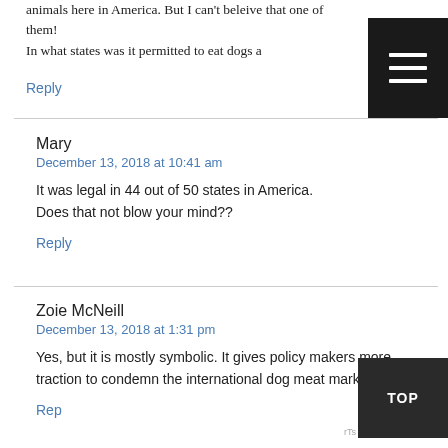animals here in America. But I can't beleive that one of them!
In what states was it permitted to eat dogs a
Reply
Mary
December 13, 2018 at 10:41 am
It was legal in 44 out of 50 states in America. Does that not blow your mind??
Reply
Zoie McNeill
December 13, 2018 at 1:31 pm
Yes, but it is mostly symbolic. It gives policy makers more traction to condemn the international dog meat market.
Reply